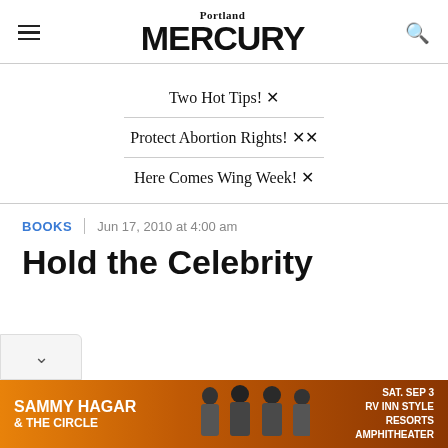Portland MERCURY
Two Hot Tips! 🔥
Protect Abortion Rights! 🔥🔥
Here Comes Wing Week! 🔥
BOOKS | Jun 17, 2010 at 4:00 am
Hold the Celebrity
[Figure (photo): Advertisement banner for Sammy Hagar & The Circle at RV Inn Style Resorts Amphitheater, Sat. Sep 3]